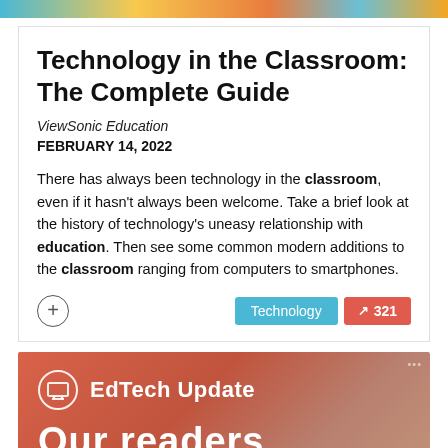[Figure (illustration): Colorful top banner strip with mixed colors]
Technology in the Classroom: The Complete Guide
ViewSonic Education
FEBRUARY 14, 2022
There has always been technology in the classroom, even if it hasn't always been welcome. Take a brief look at the history of technology's uneasy relationship with education. Then see some common modern additions to the classroom ranging from computers to smartphones.
[Figure (screenshot): EdTech Update banner with orange/red background showing 'Our readers' text partially visible]